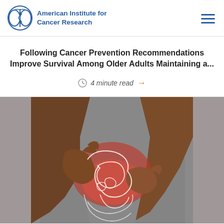American Institute for Cancer Research
Following Cancer Prevention Recommendations Improve Survival Among Older Adults Maintaining a...
4 minute read
[Figure (photo): Person holding their abdomen/stomach area with both hands, with a white illustrated outline of intestines/colon overlaid on the torso area, shown against a grey background. The abdominal area is highlighted in red.]